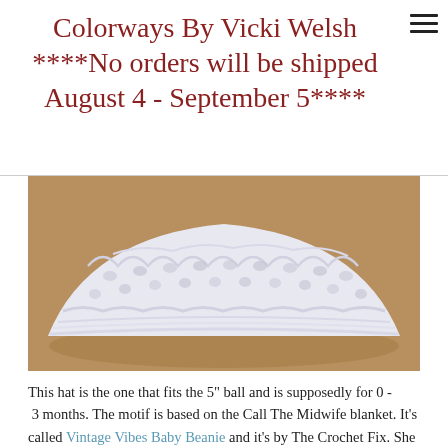Colorways By Vicki Welsh ****No orders will be shipped August 4 - September 5****
[Figure (photo): Close-up photo of a white crocheted baby beanie hat resting on a brown surface, showing lacework texture.]
This hat is the one that fits the 5" ball and is supposedly for 0 - 3 months. The motif is based on the Call The Midwife blanket. It's called Vintage Vibes Baby Beanie and it's by The Crochet Fix. She also has coordinating Vintage Vibes Adult Hat and Vintage Vibes Baby Blanket patterns. Both of the hat patterns are free. This is also a well written pattern and it has several versions, including preemie versions. I'll just